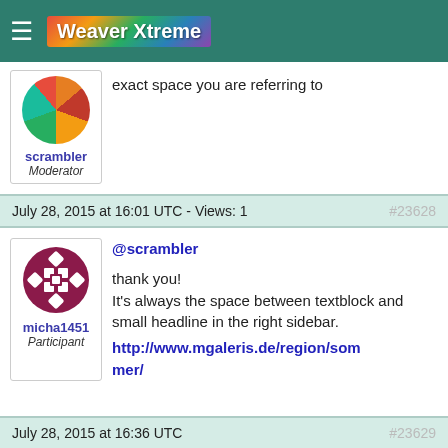Weaver Xtreme
exact space you are referring to
scrambler
Moderator
July 28, 2015 at 16:01 UTC - Views: 1
#23628
@scrambler

thank you!
It's always the space between textblock and small headline in the right sidebar.
http://www.mgaleris.de/region/sommer/
micha1451
Participant
July 28, 2015 at 16:36 UTC
#23629